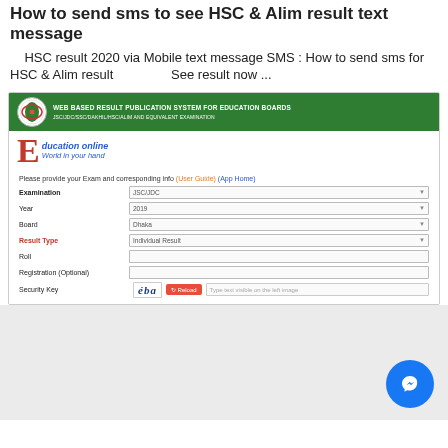How to send sms to see HSC & Alim result text message
HSC result 2020 via Mobile text message SMS : How to send sms for HSC & Alim result     See result now ...
[Figure (screenshot): Screenshot of Web Based Result Publication System for Education Boards website showing a form with fields for Examination (JSC/JDC), Year (2019), Board (Dhaka), Result Type (Individual Result), Roll, Registration (Optional), and Security Key with captcha. The site has a green header and an 'Education online' brand logo.]